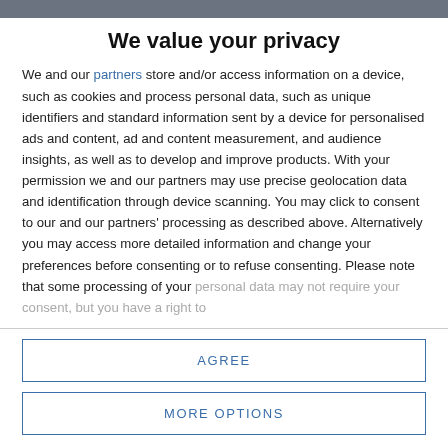We value your privacy
We and our partners store and/or access information on a device, such as cookies and process personal data, such as unique identifiers and standard information sent by a device for personalised ads and content, ad and content measurement, and audience insights, as well as to develop and improve products. With your permission we and our partners may use precise geolocation data and identification through device scanning. You may click to consent to our and our partners' processing as described above. Alternatively you may access more detailed information and change your preferences before consenting or to refuse consenting. Please note that some processing of your personal data may not require your consent, but you have a right to
AGREE
MORE OPTIONS
object after requiring